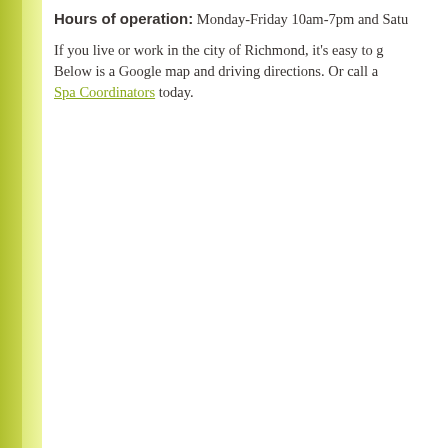Hours of operation: Monday-Friday 10am-7pm and Satu...
If you live or work in the city of Richmond, it's easy to g... Below is a Google map and driving directions. Or call a... Spa Coordinators today.